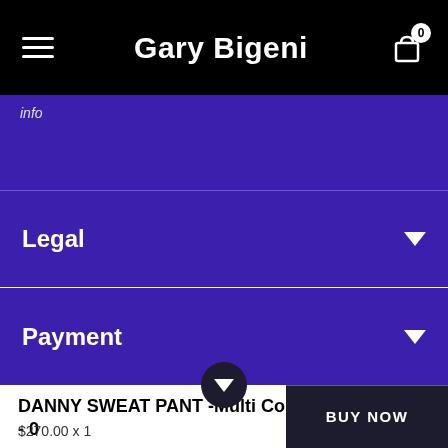Gary Bigeni
Legal
Payment
DANNY SWEAT PANT -Multi Colours - 0
$270.00 x 1